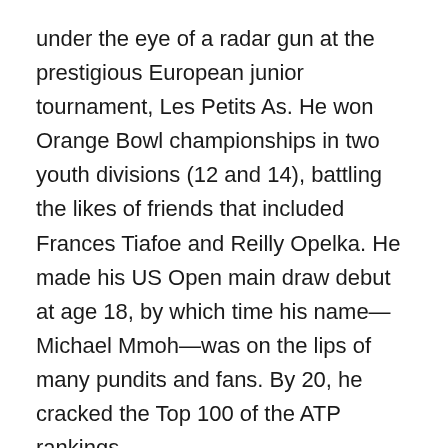under the eye of a radar gun at the prestigious European junior tournament, Les Petits As. He won Orange Bowl championships in two youth divisions (12 and 14), battling the likes of friends that included Frances Tiafoe and Reilly Opelka. He made his US Open main draw debut at age 18, by which time his name—Michael Mmoh—was on the lips of many pundits and fans. By 20, he cracked the Top 100 of the ATP rankings.
With his rangy athleticism and booming serve, the experts said, Mmoh could very well be the Next Big Thing. But seemingly overnight he turned into the Next Broke Thing, a bum right shoulder in 2019 halting his progress toward stardom.